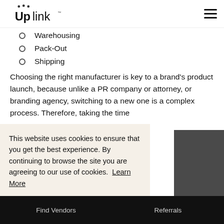Uplink
Warehousing
Pack-Out
Shipping
Choosing the right manufacturer is key to a brand's product launch, because unlike a PR company or attorney, or branding agency, switching to a new one is a complex process. Therefore, taking the time
This website uses cookies to ensure that you get the best experience. By continuing to browse the site you are agreeing to our use of cookies. Learn More
OK
Find Vendors   Referrals